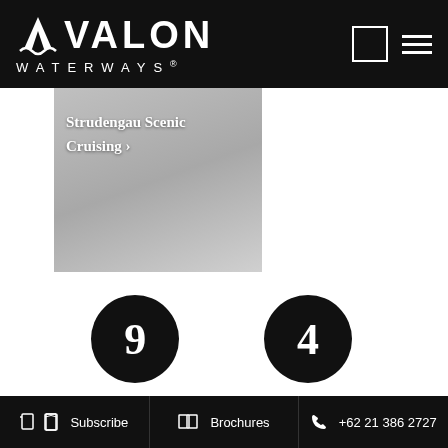[Figure (logo): Avalon Waterways logo with wave-mountain icon in white on black background, with square and hamburger menu icons on the right]
[Figure (photo): Grey card/image area showing Strudengau Scenic Cruising link text in white]
Strudengau Scenic Cruising ›
[Figure (infographic): Two black circles with numbers: 9 labeled DAYS, 4 labeled COUNTRIES]
Subscribe   Brochures   +62 21 386 2727